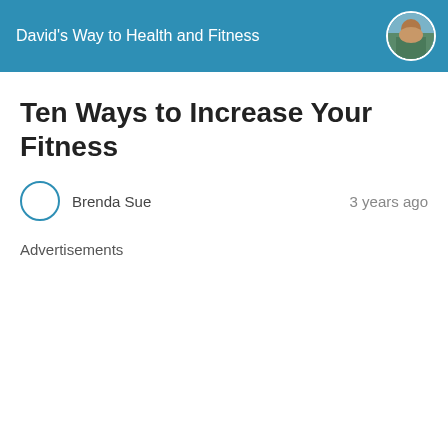David's Way to Health and Fitness
Ten Ways to Increase Your Fitness
Brenda Sue    3 years ago
Advertisements